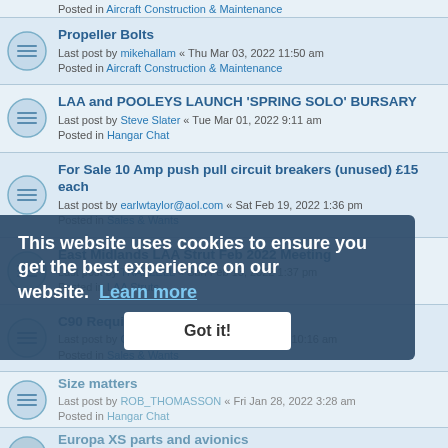Posted in Aircraft Construction & Maintenance
Propeller Bolts
Last post by mikehallam « Thu Mar 03, 2022 11:50 am
Posted in Aircraft Construction & Maintenance
LAA and POOLEYS LAUNCH 'SPRING SOLO' BURSARY
Last post by Steve Slater « Tue Mar 01, 2022 9:11 am
Posted in Hangar Chat
For Sale 10 Amp push pull circuit breakers (unused) £15 each
Last post by earlwtaylor@aol.com « Sat Feb 19, 2022 1:36 pm
Posted in Sales & Wants
East Midlands LAA Strut Feb 2022 Meeting
Last post by TRAZZELL « Sun Feb 13, 2022 1:37 pm
Posted in LAA Struts
C90 Required
Last post by GordonBruce « Wed Feb 09, 2022 10:16 am
Posted in Sales & Wants
Size matters
Last post by ROB_THOMASSON « Fri Jan 28, 2022 3:28 am
Posted in Hangar Chat
Europa XS parts and avionics
Last post by Paul Catanach « Fri Jan 21, 2022 1:20 pm
Posted in Sales & Wants
Aeroweld Rotax exhausts
Last post by franklynw « Mon Jan 17, 2022 9:33 am
Posted in Aircraft Construction & Maintenance
This website uses cookies to ensure you get the best experience on our website. Learn more
Got it!